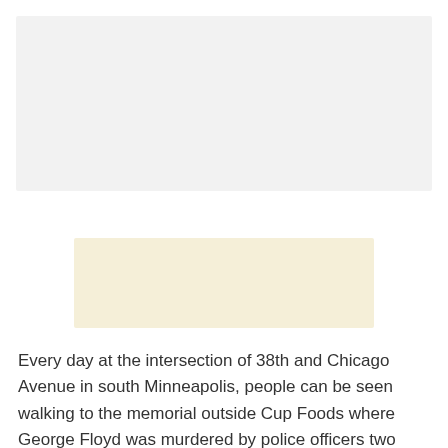[Figure (photo): Gray placeholder rectangle at top of page, representing an image]
[Figure (other): Beige/cream colored rectangle, representing an advertisement or image placeholder]
Every day at the intersection of 38th and Chicago Avenue in south Minneapolis, people can be seen walking to the memorial outside Cup Foods where George Floyd was murdered by police officers two years ago today. today.
They take photos or capture a video of their visit on their mobile phone. Others leave flowers, cards, paintings and